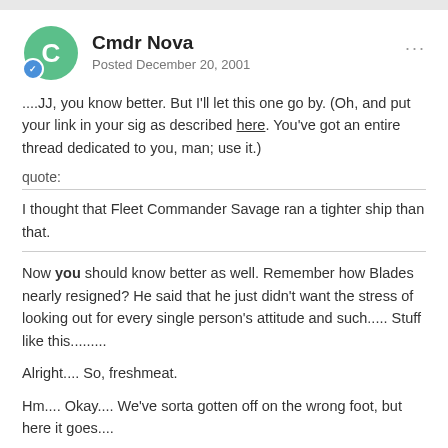Cmdr Nova
Posted December 20, 2001
....JJ, you know better. But I'll let this one go by. (Oh, and put your link in your sig as described here. You've got an entire thread dedicated to you, man; use it.)
quote:
I thought that Fleet Commander Savage ran a tighter ship than that.
Now you should know better as well. Remember how Blades nearly resigned? He said that he just didn't want the stress of looking out for every single person's attitude and such..... Stuff like this.........
Alright.... So, freshmeat.
Hm.... Okay.... We've sorta gotten off on the wrong foot, but here it goes....